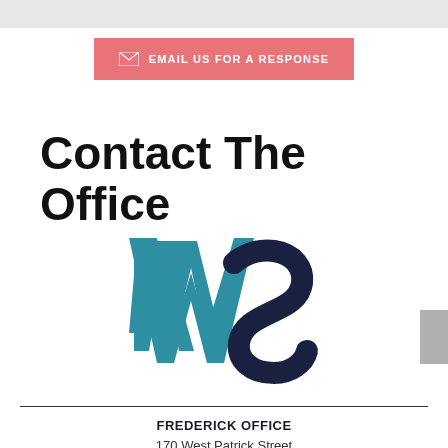EMAIL US FOR A RESPONSE
Contact The Office
[Figure (logo): WS law firm logo — large teal W and dark navy S lettermark]
FREDERICK OFFICE
170 West Patrick Street